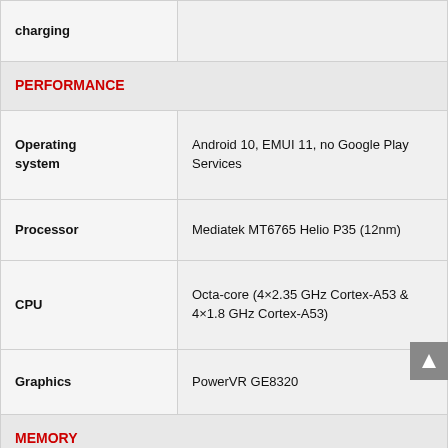| Property | Value |
| --- | --- |
| charging |  |
| PERFORMANCE |  |
| Operating system | Android 10, EMUI 11, no Google Play Services |
| Processor | Mediatek MT6765 Helio P35 (12nm) |
| CPU | Octa-core (4×2.35 GHz Cortex-A53 & 4×1.8 GHz Cortex-A53) |
| Graphics | PowerVR GE8320 |
| MEMORY |  |
| Internal | 64GB 4GB RAM |